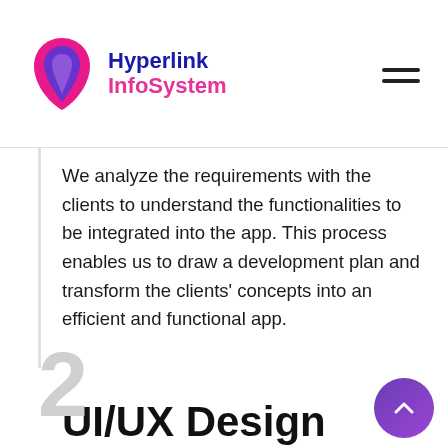Hyperlink InfoSystem
We analyze the requirements with the clients to understand the functionalities to be integrated into the app. This process enables us to draw a development plan and transform the clients' concepts into an efficient and functional app.
[Figure (illustration): Large grey numeral 2 with a green WhatsApp-style circle icon overlaid in front]
UI/UX Design